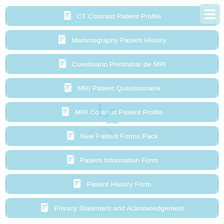CT Contrast Patient Profile
Mammography Patient History
Cuestinario Preliminar de MRI
MRI Patient Questionnaire
MRI Contrast Patient Profile
New Patient Forms Pack
Patient Information Form
Patient History Form
Privacy Statement and Acknowledgement